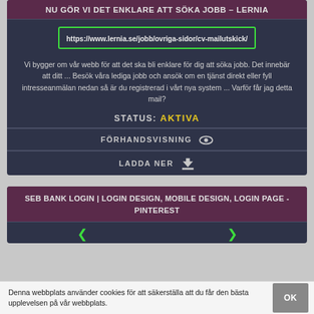NU GÖR VI DET ENKLARE ATT SÖKA JOBB – LERNIA
https://www.lernia.se/jobb/ovriga-sidor/cv-mailutskick/
Vi bygger om vår webb för att det ska bli enklare för dig att söka jobb. Det innebär att ditt ... Besök våra lediga jobb och ansök om en tjänst direkt eller fyll intresseanmälan nedan så är du registrerad i vårt nya system ... Varför får jag detta mail?
STATUS: AKTIVA
FÖRHANDSVISNING
LADDA NER
SEB BANK LOGIN | LOGIN DESIGN, MOBILE DESIGN, LOGIN PAGE - PINTEREST
Denna webbplats använder cookies för att säkerställa att du får den bästa upplevelsen på vår webbplats.